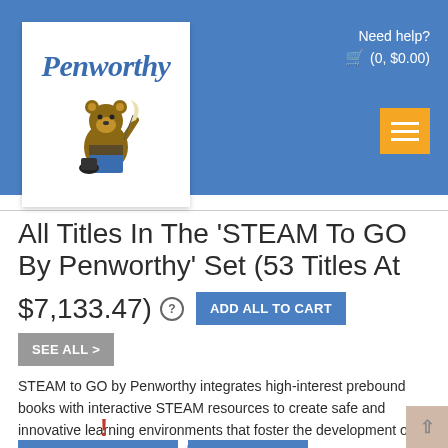[Figure (logo): Penworthy logo with bear mascot holding a quill pen]
Need help? (0, $0.00)
All Titles In The 'STEAM To GO By Penworthy' Set (53 Titles At $7,133.47)
STEAM to GO by Penworthy integrates high-interest prebound books with interactive STEAM resources to create safe and innovative learning environments that foster the development of critical thinking, problem solving, and creativity.